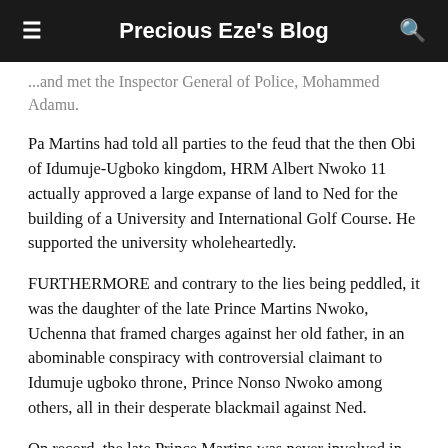Precious Eze's Blog
...and met the Inspector General of Police, Mohammed Adamu.
Pa Martins had told all parties to the feud that the then Obi of Idumuje-Ugboko kingdom, HRM Albert Nwoko 11 actually approved a large expanse of land to Ned for the building of a University and International Golf Course. He supported the university wholeheartedly.
FURTHERMORE and contrary to the lies being peddled, it was the daughter of the late Prince Martins Nwoko, Uchenna that framed charges against her old father, in an abominable conspiracy with controversial claimant to Idumuje ugboko throne, Prince Nonso Nwoko among others, all in their desperate blackmail against Ned.
On record, the late Prince Martins was never involved in the crisis in Idumuje-Ugboko. As the Diokpa, he stayed out of the malaise, but it was Nonso and Uchenna who dragged him to the settlement meeting in Benin, an action we sure they